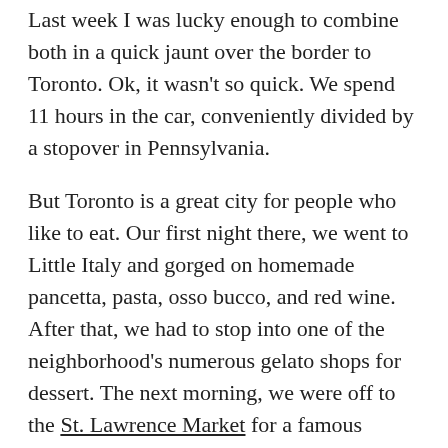Last week I was lucky enough to combine both in a quick jaunt over the border to Toronto. Ok, it wasn't so quick. We spend 11 hours in the car, conveniently divided by a stopover in Pennsylvania.
But Toronto is a great city for people who like to eat. Our first night there, we went to Little Italy and gorged on homemade pancetta, pasta, osso bucco, and red wine. After that, we had to stop into one of the neighborhood's numerous gelato shops for dessert. The next morning, we were off to the St. Lawrence Market for a famous peameal bacon sandwich and hot coffee. Delicious! Thus fortified, we set off for the Toronto Islands and spent a lovely afternoon nattering around on bicycles, soaking up sunlight along the shores of Lake Ontario, and finding quaint